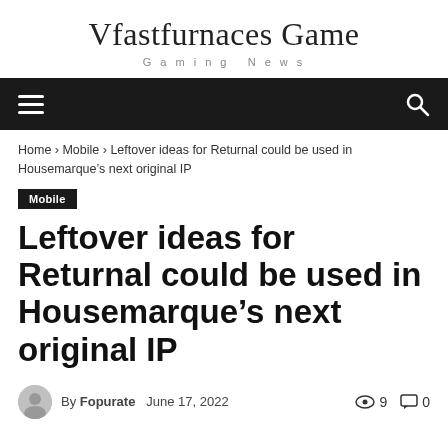Vfastfurnaces Game
Gaming News
Home › Mobile › Leftover ideas for Returnal could be used in Housemarque's next original IP
Mobile
Leftover ideas for Returnal could be used in Housemarque's next original IP
By Fopurate   June 17, 2022   👁 9   💬 0